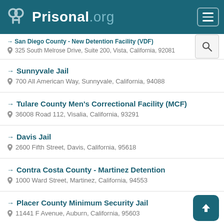Prisonal.org
San Diego County - New Detention Facility (VDF)
325 South Melrose Drive, Suite 200, Vista, California, 92081
Sunnyvale Jail
700 All American Way, Sunnyvale, California, 94088
Tulare County Men's Correctional Facility (MCF)
36008 Road 112, Visalia, California, 93291
Davis Jail
2600 Fifth Street, Davis, California, 95618
Contra Costa County - Martinez Detention
1000 Ward Street, Martinez, California, 94553
Placer County Minimum Security Jail
11441 F Avenue, Auburn, California, 95603
Juvenile Camp, Joseph Paige